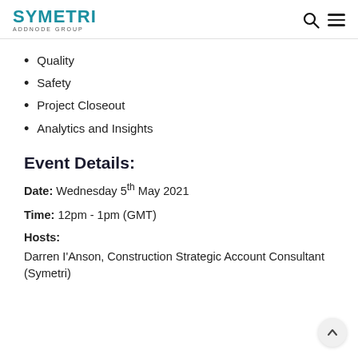SYMETRI ADDNODE GROUP
Quality
Safety
Project Closeout
Analytics and Insights
Event Details:
Date: Wednesday 5th May 2021
Time: 12pm - 1pm (GMT)
Hosts:
Darren I'Anson, Construction Strategic Account Consultant (Symetri)